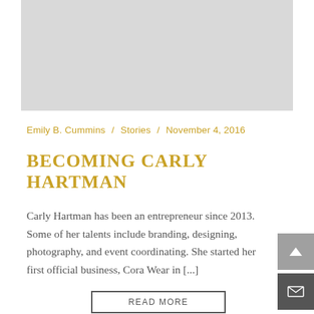[Figure (photo): Gray placeholder image for article header photo]
Emily B. Cummins / Stories / November 4, 2016
BECOMING CARLY HARTMAN
Carly Hartman has been an entrepreneur since 2013. Some of her talents include branding, designing, photography, and event coordinating. She started her first official business, Cora Wear in [...]
READ MORE